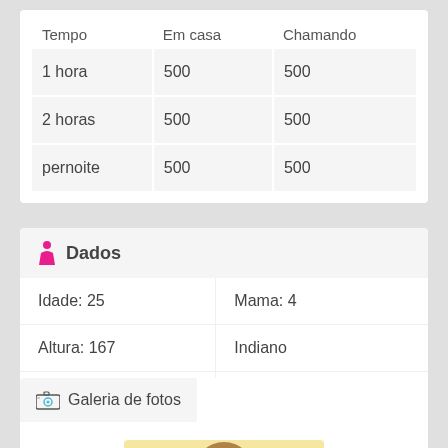| Tempo | Em casa | Chamando |
| --- | --- | --- |
| 1 hora | 500 | 500 |
| 2 horas | 500 | 500 |
| pernoite | 500 | 500 |
Dados
| Idade: 25 | Mama: 4 |
| Altura: 167 | Indiano |
| Peso: 48 | Brunettes |
Galeria de fotos
[Figure (photo): Photo gallery preview showing partial person image]